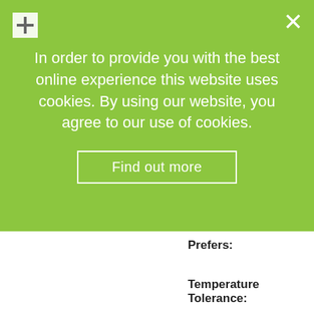Foliage Colour:
Planting Recommendations:
In order to provide you with the best online experience this website uses cookies. By using our website, you agree to our use of cookies.
Find out more
Prefers:
Temperature Tolerance:
Plant Care:
Additional Notes (*):
All information provided is based on producing adjust cultural notes accordingly.
Finishing times - Based on average estimate.
Temperature - These conditions assume a p